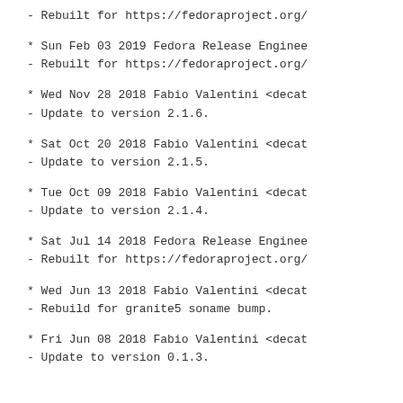- Rebuilt for https://fedoraproject.org/
* Sun Feb 03 2019 Fedora Release Engineer
- Rebuilt for https://fedoraproject.org/
* Wed Nov 28 2018 Fabio Valentini <decat
- Update to version 2.1.6.
* Sat Oct 20 2018 Fabio Valentini <decat
- Update to version 2.1.5.
* Tue Oct 09 2018 Fabio Valentini <decat
- Update to version 2.1.4.
* Sat Jul 14 2018 Fedora Release Engineer
- Rebuilt for https://fedoraproject.org/
* Wed Jun 13 2018 Fabio Valentini <decat
- Rebuild for granite5 soname bump.
* Fri Jun 08 2018 Fabio Valentini <decat
- Update to version 0.1.3.